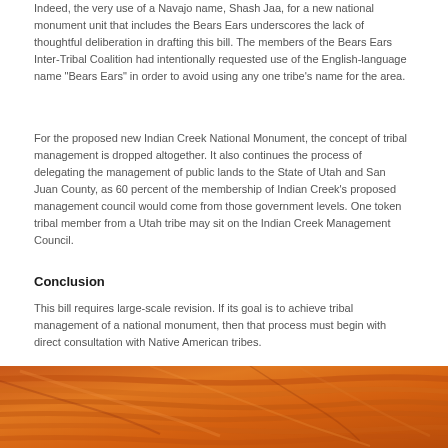Indeed, the very use of a Navajo name, Shash Jaa, for a new national monument unit that includes the Bears Ears underscores the lack of thoughtful deliberation in drafting this bill. The members of the Bears Ears Inter-Tribal Coalition had intentionally requested use of the English-language name "Bears Ears" in order to avoid using any one tribe's name for the area.
For the proposed new Indian Creek National Monument, the concept of tribal management is dropped altogether. It also continues the process of delegating the management of public lands to the State of Utah and San Juan County, as 60 percent of the membership of Indian Creek's proposed management council would come from those government levels. One token tribal member from a Utah tribe may sit on the Indian Creek Management Council.
Conclusion
This bill requires large-scale revision. If its goal is to achieve tribal management of a national monument, then that process must begin with direct consultation with Native American tribes.
[Figure (photo): Close-up photograph of orange/red sandstone rock formations with layered striations and textures, characteristic of Bears Ears or similar Utah canyon country geology.]